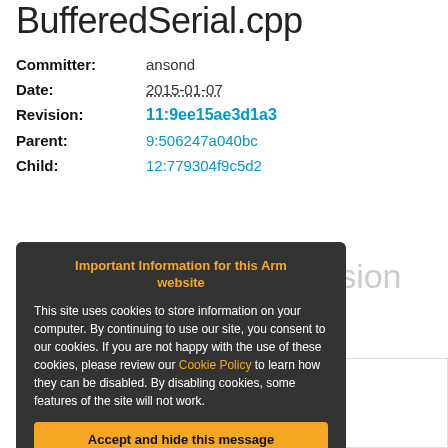BufferedSerial.cpp
Committer: ansond
Date: 2015-01-07
Revision: 11:9ee15ae3d1a3
Parent: 9:506247a040bc
Child: 12:779304f9c5d2
File content as of revision 11:9ee15ae3d1a3:
Important Information for this Arm website
This site uses cookies to store information on your computer. By continuing to use our site, you consent to our cookies. If you are not happy with the use of these cookies, please review our Cookie Policy to learn how they can be disabled. By disabling cookies, some features of the site will not work.
Accept and hide this message
Extends mbed Serial function